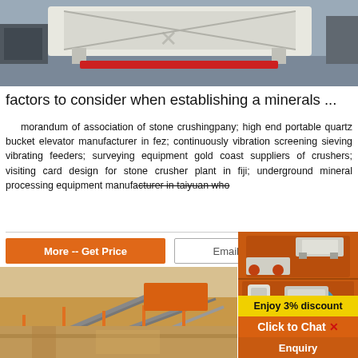[Figure (photo): Industrial machinery/crusher equipment, white colored, photographed in a factory or yard setting]
factors to consider when establishing a minerals ...
morandum of association of stone crushingpany; high end portable quartz bucket elevator manufacturer in fez; continuously vibration screening sieving vibrating feeders; surveying equipment gold coast suppliers of crushers; visiting card design for stone crusher plant in fiji; underground mineral processing equipment manufacturer in taiyuan who
[Figure (photo): More - Get Price button (orange) and Email contact button on a mining/quarrying equipment site screenshot]
[Figure (photo): Mining site with conveyor belts and heavy equipment in sandy/arid environment]
[Figure (photo): Advertisement sidebar with orange background, showing crusher machinery images, 'Enjoy 3% discount', 'Click to Chat', and 'Enquiry' banners]
[Figure (photo): Partial bottom photo of stone crushing or mining equipment]